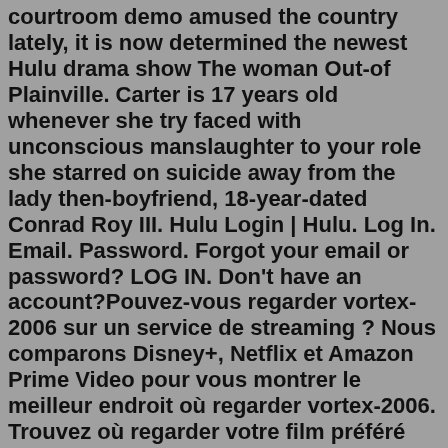courtroom demo amused the country lately, it is now determined the newest Hulu drama show The woman Out-of Plainville. Carter is 17 years old whenever she try faced with unconscious manslaughter to your role she starred on suicide away from the lady then-boyfriend, 18-year-dated Conrad Roy III. Hulu Login | Hulu. Log In. Email. Password. Forgot your email or password? LOG IN. Don't have an account?Pouvez-vous regarder vortex-2006 sur un service de streaming ? Nous comparons Disney+, Netflix et Amazon Prime Video pour vous montrer le meilleur endroit où regarder vortex-2006. Trouvez où regarder votre film préféré vortex-2006 aujourd'hui en streaming avec un essai gratuit.Apr 29, 2022 · Vortex is a measured, formally experimental and nearly two-and-a-half hour portrait of a couple in their final days, filmed entirely in a split-screen diptych and starring two industry veterans. The Sandman Season 1 is an adaptation of the first two collected volumes of Neil Gaiman's Sandman comics. The series kicks off with Dream, aka Morpheus, of the Endless finding